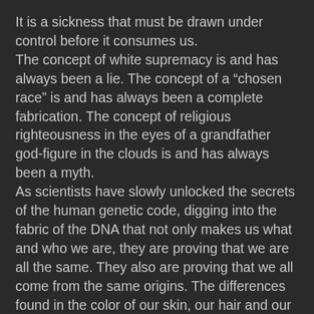It is a sickness that must be drawn under control before it consumes us.
The concept of white supremacy is and has always been a lie. The concept of a “chosen race” is and has always been a complete fabrication. The concept of religious righteousness in the eyes of a grandfather god-figure in the clouds is and has always been a myth.
As scientists have slowly unlocked the secrets of the human genetic code, digging into the fabric of the DNA that not only makes us what and who we are, they are proving that we are all the same. They also are proving that we all come from the same origins. The differences found in the color of our skin, our hair and our eyes merely means that we have become unique from one another. They do not make us better or worse. The fact that we were born into a